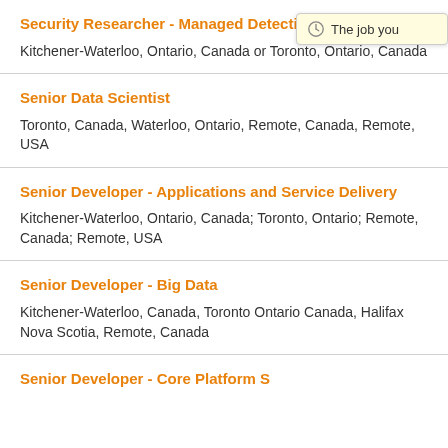Security Researcher - Managed Detection & R...
Kitchener-Waterloo, Ontario, Canada or Toronto, Ontario, Canada
Senior Data Scientist
Toronto, Canada, Waterloo, Ontario, Remote, Canada, Remote, USA
Senior Developer - Applications and Service Delivery
Kitchener-Waterloo, Ontario, Canada; Toronto, Ontario; Remote, Canada; Remote, USA
Senior Developer - Big Data
Kitchener-Waterloo, Canada, Toronto Ontario Canada, Halifax Nova Scotia, Remote, Canada
Senior Developer - Core Platform S...